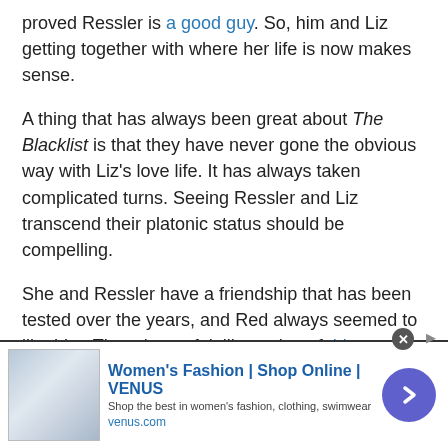proved Ressler is a good guy. So, him and Liz getting together with where her life is now makes sense.
A thing that has always been great about The Blacklist is that they have never gone the obvious way with Liz's love life. It has always taken complicated turns. Seeing Ressler and Liz transcend their platonic status should be compelling.
She and Ressler have a friendship that has been tested over the years, and Red always seemed to like him. That always felt like a sign of things to come between Liz and Ressler.
Find out if Liz and Ressler get romantic when The Blacklist continues with new episodes airing Fridays at
[Figure (other): Advertisement banner for Women's Fashion Shop Online VENUS. Shows thumbnail image of fashion model, bold blue headline text, description text, venus.com URL, and a blue circular arrow button.]